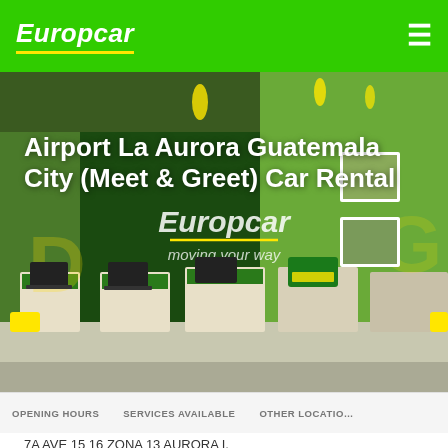Europcar
[Figure (photo): Europcar car rental office interior with green branded walls, service counters, and 'moving your way' tagline visible]
Airport La Aurora Guatemala City (Meet & Greet) Car Rental
OPENING HOURS   SERVICES AVAILABLE   OTHER LOCATIONS
7A AVE 15 16 ZONA 13 AURORA I,
MEET AND GREET,
1013 GUATEMALA